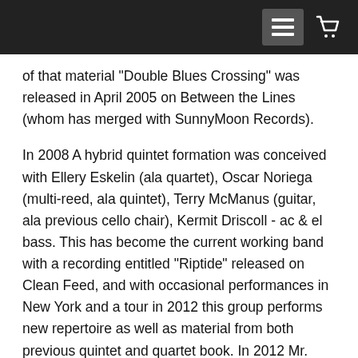[navigation bar with menu and cart icons]
of that material "Double Blues Crossing" was released in April 2005 on Between the Lines (whom has merged with SunnyMoon Records).
In 2008 A hybrid quintet formation was conceived with Ellery Eskelin (ala quartet), Oscar Noriega (multi-reed, ala quintet), Terry McManus (guitar, ala previous cello chair), Kermit Driscoll - ac & el bass. This has become the current working band with a recording entitled "Riptide" released on Clean Feed, and with occasional performances in New York and a tour in 2012 this group performs new repertoire as well as material from both previous quintet and quartet book. In 2012 Mr. Hemingway formed a mixed quintet combining the WHO trio - pianist Michel Wintsch, bassist Baenz Oester, as well as guitarist Terrence McManus, and original quintet member Michael Moore with multi reeds.